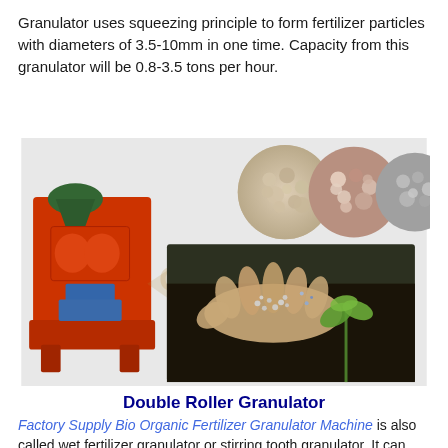Granulator uses squeezing principle to form fertilizer particles with diameters of 3.5-10mm in one time. Capacity from this granulator will be 0.8-3.5 tons per hour.
[Figure (photo): Composite image showing a Double Roller Granulator machine (red/orange body with green hopper) on the left, three circular close-up images of fertilizer granules (beige, pink/brown mix, grey), and a hand holding small grey granules near a sprouting plant seedling in dark soil. A watermark reading 'GATE' is visible. Caption below reads 'Double Roller Granulator'.]
Double Roller Granulator
Factory Supply Bio Organic Fertilizer Granulator Machine is also called wet fertilizer granulator or stirring tooth granulator. It can granulate a variety of organic matter, especially be able to granulate the coarse fiber material which is difficult to be granulated by normal granulators. The capacity in new type fertilizer granulator will be 1-10 tons per hour.